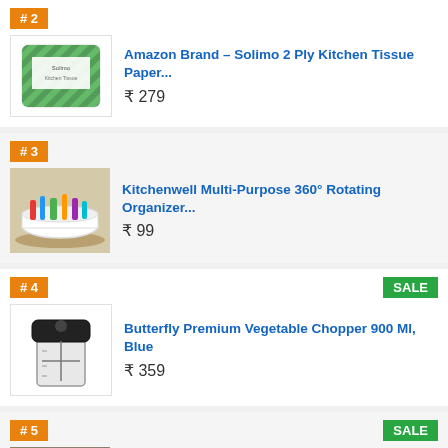#2
[Figure (photo): Amazon Brand Solimo Kitchen Tissue Paper product image]
Amazon Brand – Solimo 2 Ply Kitchen Tissue Paper...
₹ 279
#3
[Figure (photo): Kitchenwell Multi-Purpose 360° Rotating Organizer product image]
Kitchenwell Multi-Purpose 360° Rotating Organizer...
₹ 99
#4
SALE
[Figure (photo): Butterfly Premium Vegetable Chopper 900 Ml Blue product image]
Butterfly Premium Vegetable Chopper 900 Ml, Blue
₹ 359
#5
SALE
[Figure (photo): TONY STARK Kitchen Shelf Stainless Steel Wall product image]
TONY STARK Kitchen Shelf Stainless St‍eel Wall...
₹ 599